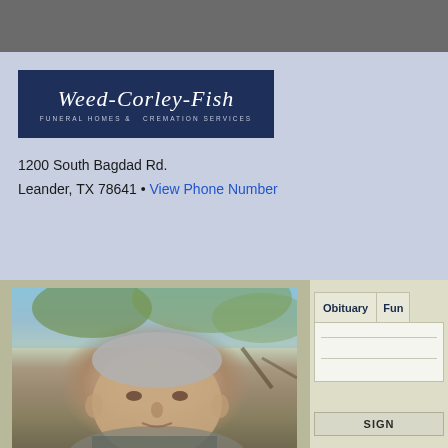[Figure (logo): Weed-Corley-Fish Funeral Homes & Cremation Services logo, dark navy blue background with white italic script text]
1200 South Bagdad Rd.
Leander, TX 78641 • View Phone Number
[Figure (photo): Portrait photo of an elderly man with gray hair, outdoors with trees in background]
Obituary | Fun
SIGN